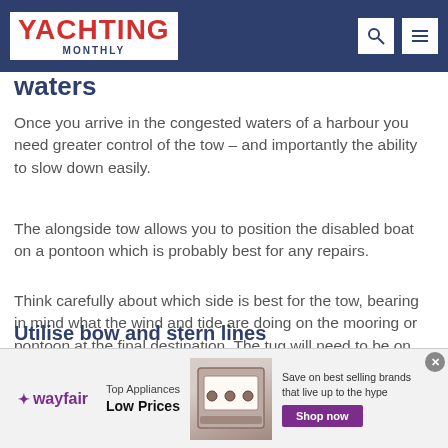YACHTING MONTHLY
waters
Once you arrive in the congested waters of a harbour you need greater control of the tow – and importantly the ability to slow down easily.
The alongside tow allows you to position the disabled boat on a pontoon which is probably best for any repairs.
Think carefully about which side is best for the tow, bearing in mind what the wind and tide are doing on the mooring or pontoon at the final destination. The tug will need to be on the outside when you come alongside.
Utilise bow and stern lines
[Figure (screenshot): Wayfair advertisement banner: Top Appliances Low Prices, with image of appliance, Save on best selling brands that live up to the hype, Shop now button]